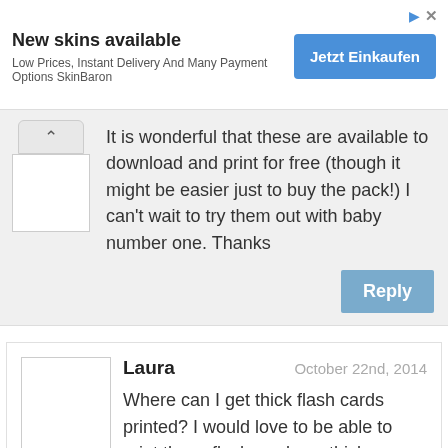[Figure (screenshot): Advertisement banner: New skins available, Low Prices, Instant Delivery And Many Payment Options SkinBaron, with Jetzt Einkaufen button]
It is wonderful that these are available to download and print for free (though it might be easier just to buy the pack!) I can't wait to try them out with baby number one. Thanks
Reply
Laura
October 22nd, 2014
Where can I get thick flash cards printed? I would love to be able to print these flash cards on thick cardboard so my baby